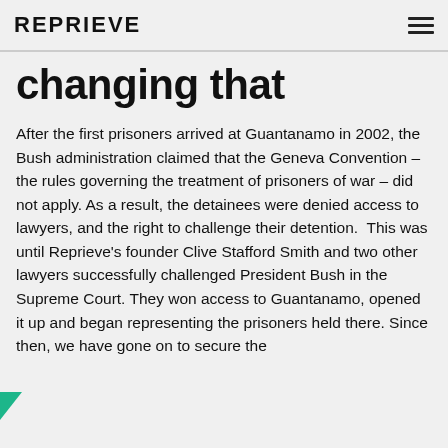REPRIEVE
changing that
After the first prisoners arrived at Guantanamo in 2002, the Bush administration claimed that the Geneva Convention – the rules governing the treatment of prisoners of war – did not apply. As a result, the detainees were denied access to lawyers, and the right to challenge their detention.  This was until Reprieve's founder Clive Stafford Smith and two other lawyers successfully challenged President Bush in the Supreme Court. They won access to Guantanamo, opened it up and began representing the prisoners held there. Since then, we have gone on to secure the